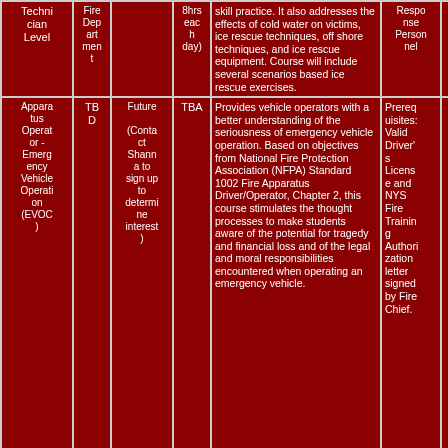| Course | Level | Date | Hours | Description | Requirements | Contact |
| --- | --- | --- | --- | --- | --- | --- |
| Technician Level | Fire Department |  | 8hrs each day) | skill practice. It also addresses the effects of cold water on victims, ice rescue techniques, off shore techniques, and ice rescue equipment. Course will include several scenarios based ice rescue exercises. | Response Personnel | 4791 |
| Apparatus Operator - Emergency Vehicle Operation (EVOC) | TBD | Future (Contact Shanna to sign up to determine interest) | TBA | Provides vehicle operators with a better understanding of the seriousness of emergency vehicle operation. Based on objectives from National Fire Protection Association (NFPA) Standard 1002 Fire Apparatus Driver/Operator, Chapter 2, this course stimulates the thought processes to make students aware of the potential for tragedy and financial loss and of the legal and moral responsibilities encountered when operating an emergency vehicle. | Prerequisites: Valid Driver's License and NYS Fire Training Authorization letter signed by Fire Chief. | 518-565-4791 |
| Principles of Instruction (Designed for Department Training Officer | TBD | Future (Contact Shanna to sign up to determi | TBA | An introductory course for individuals who will be conducting training at the company level. Topics include: qualities of a good instructor, job performance requirements, components of a lesson plan, cognitive and psychomotor lesson plans, dealing with adult learners, meeting individual learning needs, factors that affect learning, the | Prerequisites: NYS Fire Training Authorization letter | 518-565-4791 |